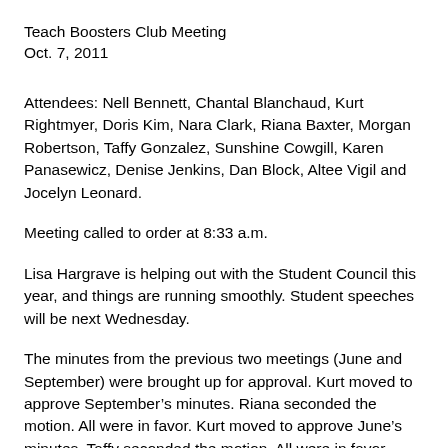Teach Boosters Club Meeting
Oct. 7, 2011
Attendees: Nell Bennett, Chantal Blanchaud, Kurt Rightmyer, Doris Kim, Nara Clark, Riana Baxter, Morgan Robertson, Taffy Gonzalez, Sunshine Cowgill, Karen Panasewicz, Denise Jenkins, Dan Block, Altee Vigil and Jocelyn Leonard.
Meeting called to order at 8:33 a.m.
Lisa Hargrave is helping out with the Student Council this year, and things are running smoothly. Student speeches will be next Wednesday.
The minutes from the previous two meetings (June and September) were brought up for approval. Kurt moved to approve September’s minutes. Riana seconded the motion. All were in favor. Kurt moved to approve June’s minutes. Taffy seconded the motion. All were in favor.